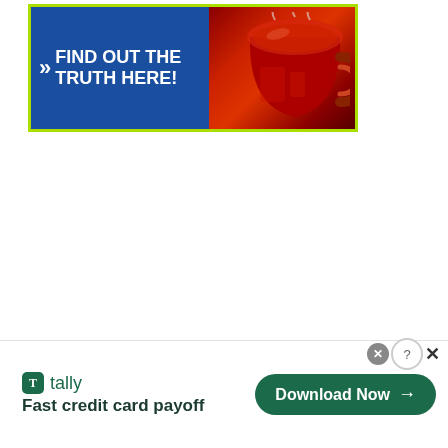[Figure (infographic): Advertisement banner with blue background showing '>> FIND OUT THE TRUTH HERE!' text on the left side and a red mug/cup photo on the right, surrounded by a lime green border]
[Figure (infographic): Tally app advertisement at the bottom. Left side shows Tally logo icon (green square with T) and brand name 'tally' with tagline 'Fast credit card payoff'. Right side shows a dark green pill-shaped 'Download Now →' button. Top right corner has close controls: gray X circle and a teal question mark circle with a dark X beside it.]